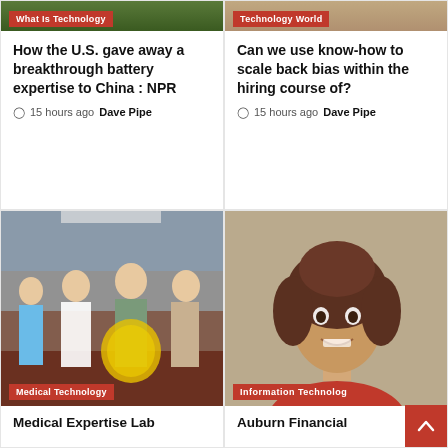[Figure (photo): Top image with green background and 'What Is Technology' category badge]
How the U.S. gave away a breakthrough battery expertise to China : NPR
15 hours ago  Dave Pipe
[Figure (photo): Top image with 'Technology World' category badge]
Can we use know-how to scale back bias within the hiring course of?
15 hours ago  Dave Pipe
[Figure (photo): Group photo at a medical event with 'Medical Technology' category badge]
Medical Expertise Lab
[Figure (photo): Portrait of a woman smiling with 'Information Technology' category badge]
Auburn Financial